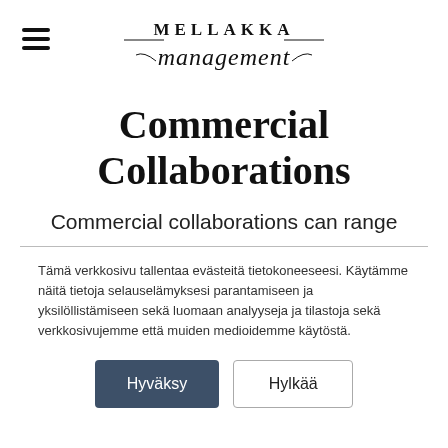MELLAKKA management
Commercial Collaborations
Commercial collaborations can range
Tämä verkkosivu tallentaa evästeitä tietokoneeseesi. Käytämme näitä tietoja selauselämyksesi parantamiseen ja yksilöllistämiseen sekä luomaan analyyseja ja tilastoja sekä verkkosivujemme että muiden medioidemme käytöstä.
Hyväksy | Hylkää